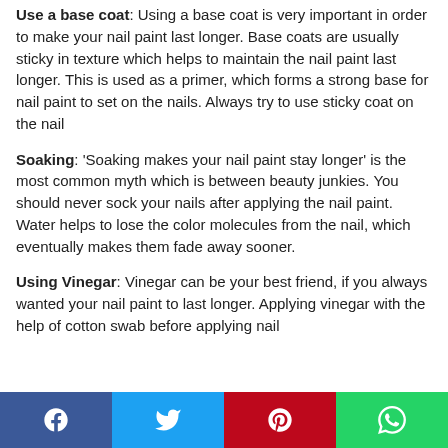Use a base coat: Using a base coat is very important in order to make your nail paint last longer. Base coats are usually sticky in texture which helps to maintain the nail paint last longer. This is used as a primer, which forms a strong base for nail paint to set on the nails. Always try to use sticky coat on the nail
Soaking: 'Soaking makes your nail paint stay longer' is the most common myth which is between beauty junkies. You should never sock your nails after applying the nail paint. Water helps to lose the color molecules from the nail, which eventually makes them fade away sooner.
Using Vinegar: Vinegar can be your best friend, if you always wanted your nail paint to last longer. Applying vinegar with the help of cotton swab before applying nail
Share buttons: Facebook, Twitter, Pinterest, WhatsApp